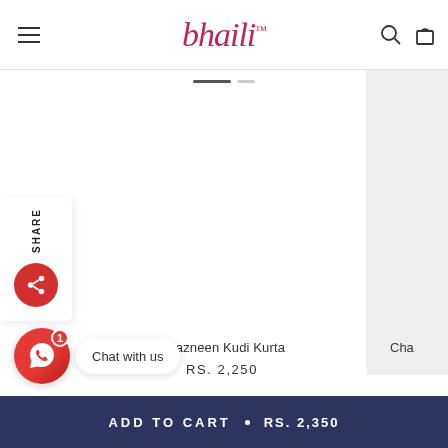bhaili™ — navigation header with hamburger menu, logo, search and bag icons
[Figure (screenshot): Product image area with slide indicators and grey panel on right side]
Naazneen Kudi Kurta
RS. 2,250
Cha
SHARE
Chat with us
ADD TO CART • RS. 2,350